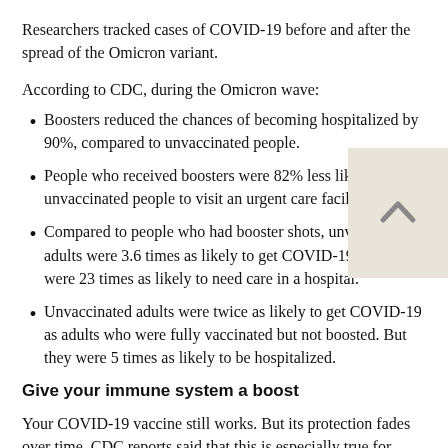Researchers tracked cases of COVID-19 before and after the spread of the Omicron variant.
According to CDC, during the Omicron wave:
Boosters reduced the chances of becoming hospitalized by 90%, compared to unvaccinated people.
People who received boosters were 82% less likely than unvaccinated people to visit an urgent care facility.
Compared to people who had booster shots, unvaccinated adults were 3.6 times as likely to get COVID-19. And they were 23 times as likely to need care in a hospital.
Unvaccinated adults were twice as likely to get COVID-19 as adults who were fully vaccinated but not boosted. But they were 5 times as likely to be hospitalized.
Give your immune system a boost
Your COVID-19 vaccine still works. But its protection fades over time. CDC reports said that this is especially true for